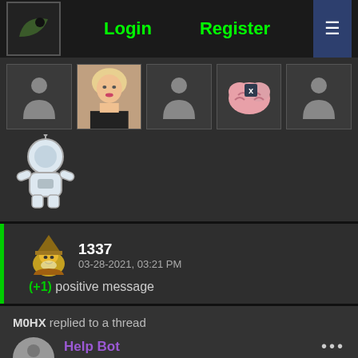Login  Register
[Figure (screenshot): Row of user avatar images including silhouettes, a photo of a woman, a brain icon, and an astronaut icon]
1337  03-28-2021, 03:21 PM  (+1) positive message
M0HX replied to a thread  Help Bot  11-15-2020, 12:54 PM  November 15th, 2020 Check-In Thread